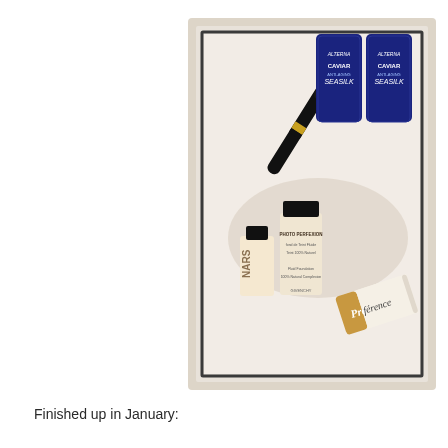[Figure (photo): A framed photo showing beauty and hair care products arranged on a light background inside a white/cream shadow-box frame. Products include a black mascara wand, two Alterna Caviar Anti-Aging Seasilk blue tubes, a NARS bottle, a Givenchy Photo Perfexion fluid foundation bottle, and an L'Oreal Préférence hair color tube.]
Finished up in January: